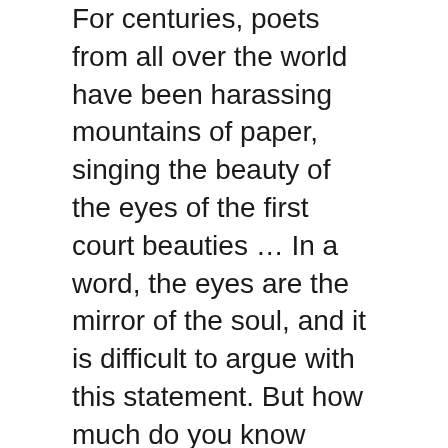For centuries, poets from all over the world have been harassing mountains of paper, singing the beauty of the eyes of the first court beauties … In a word, the eyes are the mirror of the soul, and it is difficult to argue with this statement. But how much do you know about eyes and vision?
About us
Contact
Privacy Policy & Cookies
ATTENTION TO RIGHT HOLDERS! All materials are posted on the site strictly for informational and educational purposes! If